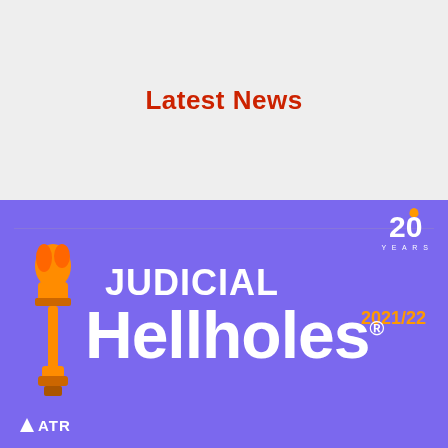Latest News
[Figure (illustration): Judicial Hellholes 2021/22 report cover banner on purple background featuring a torch logo, the title 'JUDICIAL Hellholes® 2021/22', '20 Years' badge, and ATR logo]